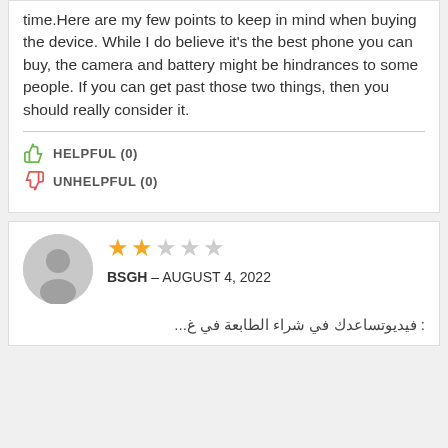time.Here are my few points to keep in mind when buying the device. While I do believe it's the best phone you can buy, the camera and battery might be hindrances to some people. If you can get past those two things, then you should really consider it.
HELPFUL (0)
UNHELPFUL (0)
[Figure (illustration): User avatar silhouette icon, circular grey background]
★★☆☆☆
BSGH – AUGUST 4, 2022
Arabic text (truncated/cut off at bottom of page)